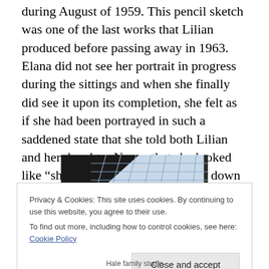during August of 1959. This pencil sketch was one of the last works that Lilian produced before passing away in 1963. Elana did not see her portrait in progress during the sittings and when she finally did see it upon its completion, she felt as if she had been portrayed in such a saddened state that she told both Lilian and her daughter Nancy that she looked like “she should have tears running down my face.” Upon hearing this, Nancy replied, “Oh no darling, you look dramatic ! ”
[Figure (photo): Partial photo of a building with a large gridded glass window/skylight, dark framing visible at top-left corner, viewed from below.]
Privacy & Cookies: This site uses cookies. By continuing to use this website, you agree to their use.
To find out more, including how to control cookies, see here: Cookie Policy
Hale family studio